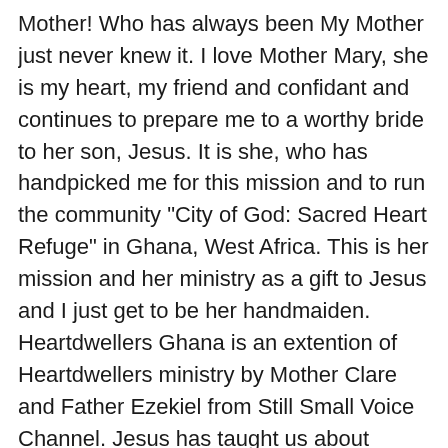Mother! Who has always been My Mother just never knew it. I love Mother Mary, she is my heart, my friend and confidant and continues to prepare me to a worthy bride to her son, Jesus. It is she, who has handpicked me for this mission and to run the community "City of God: Sacred Heart Refuge" in Ghana, West Africa. This is her mission and her ministry as a gift to Jesus and I just get to be her handmaiden. Heartdwellers Ghana is an extention of Heartdwellers ministry by Mother Clare and Father Ezekiel from Still Small Voice Channel. Jesus has taught us about divine intimacy with him. As we dwell in his heart, He and the Father come to make their home within us. (John Where Jesus is all of heaven is as well because